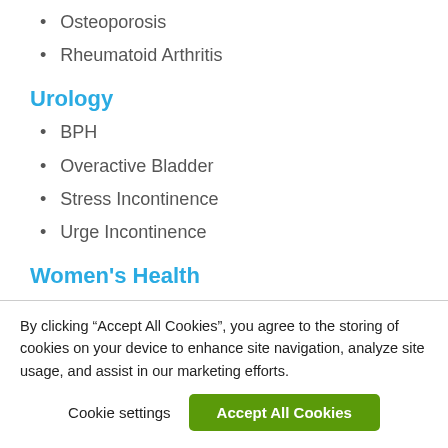Osteoporosis
Rheumatoid Arthritis
Urology
BPH
Overactive Bladder
Stress Incontinence
Urge Incontinence
Women's Health
Endometriosis
By clicking “Accept All Cookies”, you agree to the storing of cookies on your device to enhance site navigation, analyze site usage, and assist in our marketing efforts.
Cookie settings | Accept All Cookies